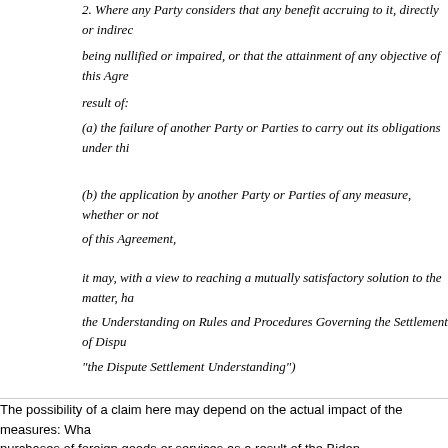2. Where any Party considers that any benefit accruing to it, directly or indirectly, is being nullified or impaired, or that the attainment of any objective of this Agreement is being impaired as a result of:
(a) the failure of another Party or Parties to carry out its obligations under this Agreement,
(b) the application by another Party or Parties of any measure, whether or not it conflicts with the provisions of this Agreement,
it may, with a view to reaching a mutually satisfactory solution to the matter, have recourse to the Understanding on Rules and Procedures Governing the Settlement of Disputes (hereinafter referred to as "the Dispute Settlement Understanding")
The possibility of a claim here may depend on the actual impact of the measures: Whether it has led to reduced purchases of foreign goods or services as a result of the Biden administration's actions
Posted by Simon Lester on October 27, 2021 at 06:29 PM in Government Procurement | Permalink | Comments
Tweet
Maria Pagan on Reforming WTO Dispute Settlement and the
This exchange is from today's Senate Finance Committee hearing to consider the po